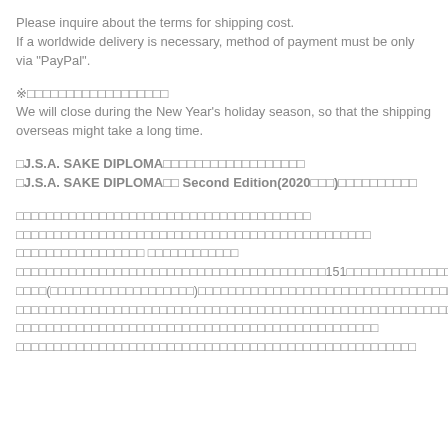Please inquire about the terms for shipping cost.
If a worldwide delivery is necessary, method of payment must be only via "PayPal".
※□□□□□□□□□□□□□□□□□□
We will close during the New Year's holiday season, so that the shipping overseas might take a long time.
□J.S.A. SAKE DIPLOMA□□□□□□□□□□□□□□□□□□
□J.S.A. SAKE DIPLOMA□□ Second Edition(2020□□□)□□□□□□□□□□
□□□□□□□□□□□□□□□□□□□□□□□□□□□□□□□□□□□□□□□
□□□□□□□□□□□□□□□□□□□□□□□□□□□□□□□□□□□□□□□□□□□□□□□
□□□□□□□□□□□□□□□□□ □□□□□□□□□□□□
□□□□□□□□□□□□□□□□□□□□□□□□□□□□□□□□□□□□□□□□□151□□□□□□□□□□□□□□□□□□□□
□□□□(□□□□□□□□□□□□□□□□□□□)□□□□□□□□□□□□□□□□□□□□□□□□□□□□□□□□□□□□□□□
□□□□□□□□□□□□□□□□□□□□□□□□□□□□□□□□□□□□□□□□□□□□□□□□□□□□□□□□□□□
□□□□□□□□□□□□□□□□□□□□□□□□□□□□□□□□□□□□□□□□□□□□□□□□
□□□□□□□□□□□□□□□□□□□□□□□□□□□□□□□□□□□□□□□□□□□□□□□□□□□□□